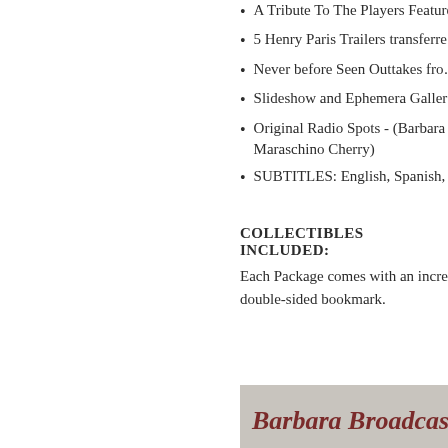A Tribute To The Players Feature
5 Henry Paris Trailers transferred… Cherry)
Never before Seen Outtakes fro…
Slideshow and Ephemera Galler…
Original Radio Spots - (Barbara … Maraschino Cherry)
SUBTITLES: English, Spanish, P…
COLLECTIBLES INCLUDED:
Each Package comes with an incredi… and a double-sided bookmark.
[Figure (other): Banner with italic bold text reading 'Barbara Broadcas…' on a gray background]